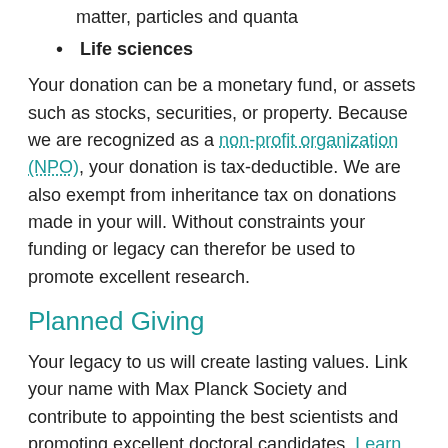matter, particles and quanta
Life sciences
Your donation can be a monetary fund, or assets such as stocks, securities, or property. Because we are recognized as a non-profit organization (NPO), your donation is tax-deductible. We are also exempt from inheritance tax on donations made in your will. Without constraints your funding or legacy can therefor be used to promote excellent research.
Planned Giving
Your legacy to us will create lasting values. Link your name with Max Planck Society and contribute to appointing the best scientists and promoting excellent doctoral candidates. Learn more about the possibilities on our Legacy site.